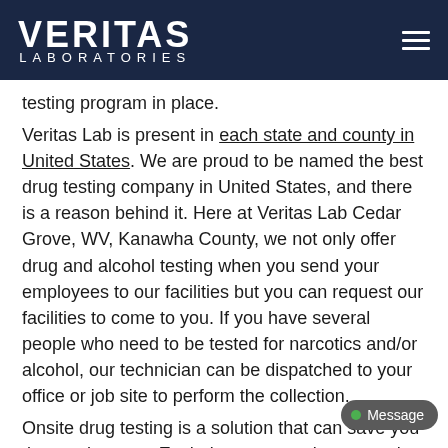VERITAS LABORATORIES
testing program in place.
Veritas Lab is present in each state and county in United States. We are proud to be named the best drug testing company in United States, and there is a reason behind it. Here at Veritas Lab Cedar Grove, WV, Kanawha County, we not only offer drug and alcohol testing when you send your employees to our facilities but you can request our facilities to come to you. If you have several people who need to be tested for narcotics and/or alcohol, our technician can be dispatched to your office or job site to perform the collection.
Onsite drug testing is a solution that can save you time and money. Each time you send your employees to the clinic you have to take them off duty and compensate